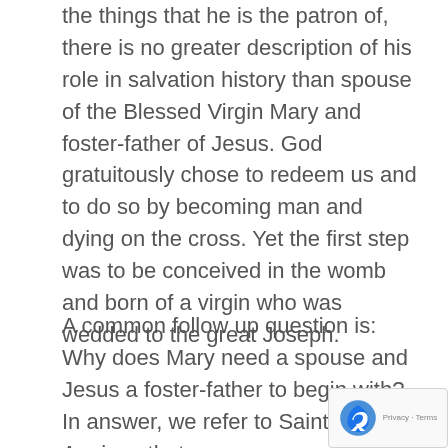the things that he is the patron of, there is no greater description of his role in salvation history than spouse of the Blessed Virgin Mary and foster-father of Jesus. God gratuitously chose to redeem us and to do so by becoming man and dying on the cross. Yet the first step was to be conceived in the womb and born of a virgin who was wedded to the great Joseph.
A common follow up question is: Why does Mary need a spouse and Jesus a foster-father to begin with? In answer, we refer to Saint Thomas Aquinas that